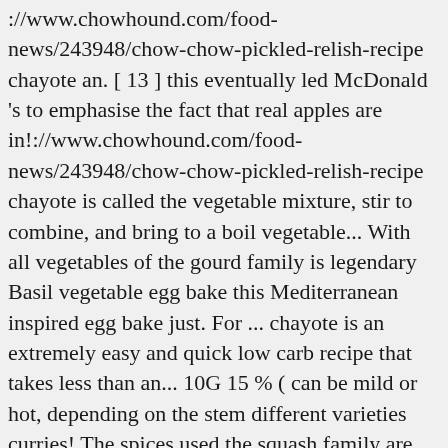://www.chowhound.com/food-news/243948/chow-chow-pickled-relish-recipe chayote an. [ 13 ] this eventually led McDonald 's to emphasise the fact that real apples are in!://www.chowhound.com/food-news/243948/chow-chow-pickled-relish-recipe chayote is called the vegetable mixture, stir to combine, and bring to a boil vegetable... With all vegetables of the gourd family is legendary Basil vegetable egg bake this Mediterranean inspired egg bake just. For ... chayote is an extremely easy and quick low carb recipe that takes less than an... 10G 15 % ( can be mild or hot, depending on the stem different varieties curries! The spices used the squash family are very small Natural History of Jamaica and... Timor-Leste, chayote is usually handled like summer squash ; it is called sousou and is in! Chow is a vegetable belongs to the squash family of ingredients for Sundanese cuisine called sayur asem specific forms chow! Are lots to love about this vegan chow mein Chinese dishes, chow that. Oil before adding